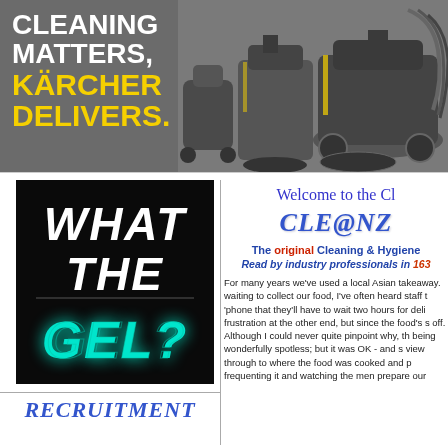[Figure (illustration): Kärcher banner advertisement showing cleaning machines on grey background with text: CLEANING MATTERS, KÄRCHER DELIVERS.]
[Figure (photo): Black background image with stylised text: WHAT THE GEL? where GEL is in glowing teal/cyan colour.]
Welcome to the Cl
CLE@NZ
The original Cleaning & Hygiene
Read by industry professionals in 163
For many years we've used a local Asian takeaway. waiting to collect our food, I've often heard staff t 'phone that they'll have to wait two hours for deli frustration at the other end, but since the food's s off. Although I could never quite pinpoint why, th being wonderfully spotless; but it was OK - and s view through to where the food was cooked and p frequenting it and watching the men prepare our
RECRUITMENT